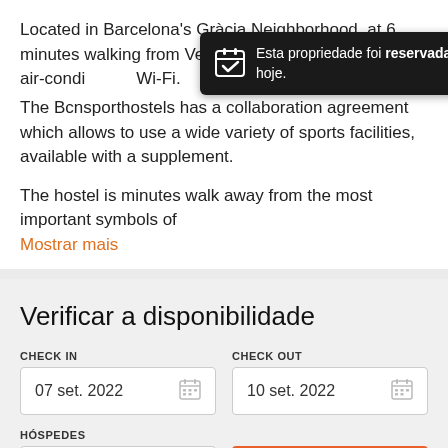Located in Barcelona's Gràcia Neighborhood, at 6 minutes walking from Verdaguer Metro, solarium, an air-condi Wi-Fi.
[Figure (infographic): Dark toast notification popup: calendar icon with checkmark, text 'Esta propriedade foi reservada uma vez hoje.' with close (x) button]
The Bcnsporthostels has a collaboration agreement which allows to use a wide variety of sports facilities, available with a supplement.
The hostel is minutes walk away from the most important symbols of
Mostrar mais
Verificar a disponibilidade
CHECK IN
07 set. 2022
CHECK OUT
10 set. 2022
HÓSPEDES
2 Hóspedes
Procurar